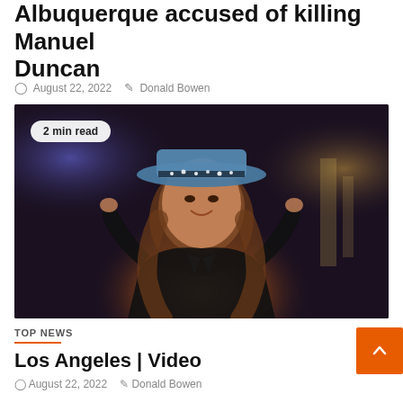Judge refuses to hear plea of Felix Albuquerque accused of killing Manuel Duncan
August 22, 2022  Donald Bowen
[Figure (photo): Woman in black leather jacket and blue cowboy hat, posing with hands on brim of hat, colorful stage lights in background]
2 min read
TOP NEWS
Los Angeles | Video
August 22, 2022  Donald Bowen